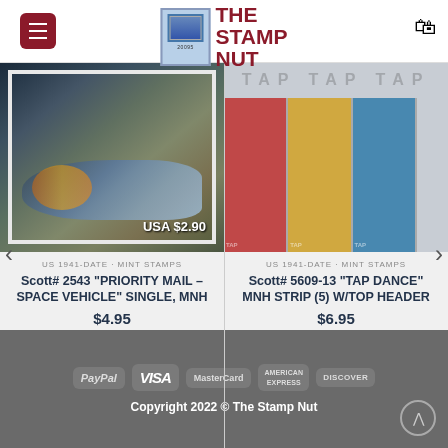The Stamp Nut
[Figure (photo): Stamp image: USA $2.90 Priority Mail Space Vehicle stamp showing spacecraft]
US 1941-DATE · MINT STAMPS
Scott# 2543 "PRIORITY MAIL – SPACE VEHICLE" SINGLE, MNH
$4.95
[Figure (photo): Stamp strip image: Tap Dance MNH strip (5) with top header showing dancers]
US 1941-DATE · MINT STAMPS
Scott# 5609-13 "TAP DANCE" MNH STRIP (5) W/TOP HEADER
$6.95
Copyright 2022 © The Stamp Nut